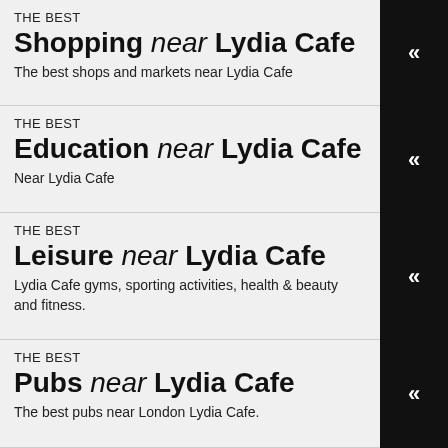THE BEST
Shopping near Lydia Cafe
The best shops and markets near Lydia Cafe
THE BEST
Education near Lydia Cafe
Near Lydia Cafe
THE BEST
Leisure near Lydia Cafe
Lydia Cafe gyms, sporting activities, health & beauty and fitness.
THE BEST
Pubs near Lydia Cafe
The best pubs near London Lydia Cafe.